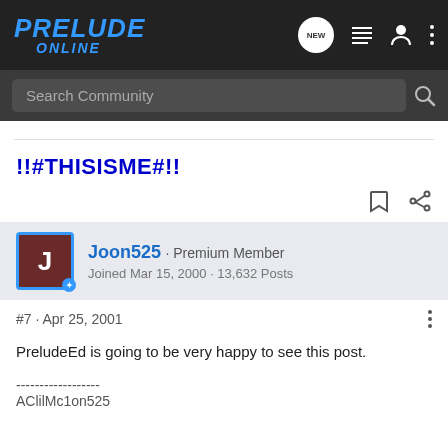PRELUDE ONLINE
Search Community
!!#THISISME#!!
Joon525 · Premium Member
Joined Mar 15, 2000 · 13,632 Posts
#7 · Apr 25, 2001
PreludeEd is going to be very happy to see this post.
------------------
AClilMc1on525